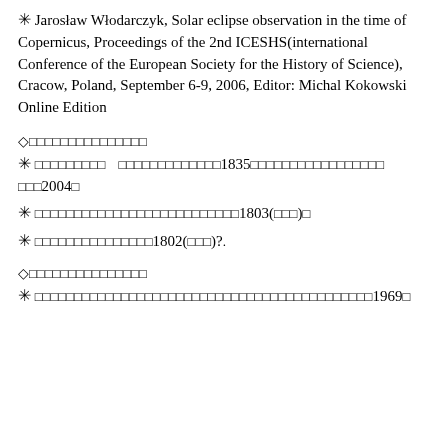✳ Jarosław Włodarczyk, Solar eclipse observation in the time of Copernicus, Proceedings of the 2nd ICESHS(international Conference of the European Society for the History of Science), Cracow, Poland, September 6-9, 2006, Editor: Michal Kokowski Online Edition
◇□□□□□□□□□□□□□□□
✳ □□□□□□□□□ □□□□□□□□□□□□□1835□□□□□□□□□□□□□□□□□□□2004□
✳ □□□□□□□□□□□□□□□□□□□□□□□□□□1803(□□□)□
✳ □□□□□□□□□□□□□□□1802(□□□)?.
◇□□□□□□□□□□□□□□□
✳ □□□□□□□□□□□□□□□□□□□□□□□□□□□□□□□□□□□□□□□□□□□1969□